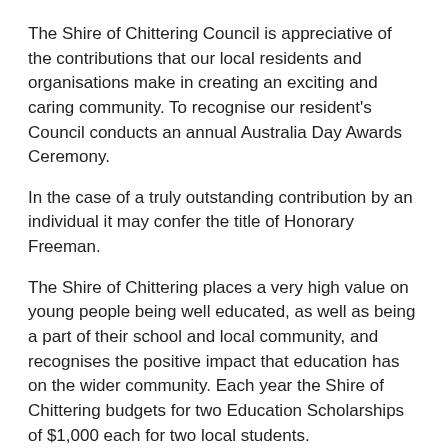The Shire of Chittering Council is appreciative of the contributions that our local residents and organisations make in creating an exciting and caring community. To recognise our resident's Council conducts an annual Australia Day Awards Ceremony.
In the case of a truly outstanding contribution by an individual it may confer the title of Honorary Freeman.
The Shire of Chittering places a very high value on young people being well educated, as well as being a part of their school and local community, and recognises the positive impact that education has on the wider community. Each year the Shire of Chittering budgets for two Education Scholarships of $1,000 each for two local students.
For further information on these awards please refer to the following policies:
Policy 1.15 Honorary Freeman of the Shire of Chittering (SIZE 135kb)